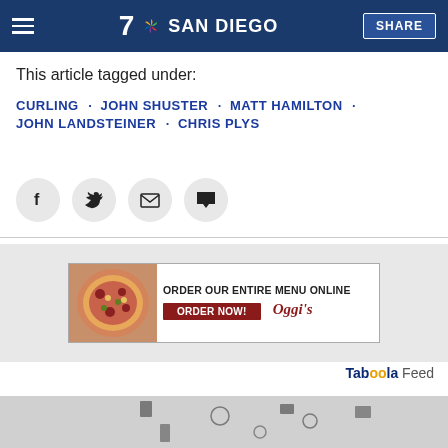7 SAN DIEGO | SHARE
This article tagged under:
CURLING · JOHN SHUSTER · MATT HAMILTON · JOHN LANDSTEINER · CHRIS PLYS
[Figure (other): Social share icons: Facebook, Twitter, Email, Comment]
[Figure (other): Advertisement banner: ORDER OUR ENTIRE MENU ONLINE / ORDER NOW! / Oggi's - with pizza image]
Taboola Feed
[Figure (illustration): Taboola feed thumbnail image showing business/technology icons arranged in a circular pattern on gray background]